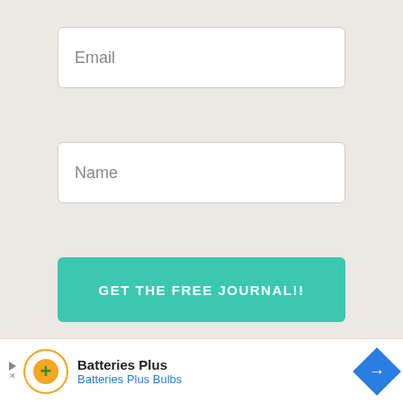Email
Name
GET THE FREE JOURNAL!!
[Figure (screenshot): Advertisement banner for Batteries Plus / Batteries Plus Bulbs with orange circle logo, play/close icons, and blue diamond direction arrow icon]